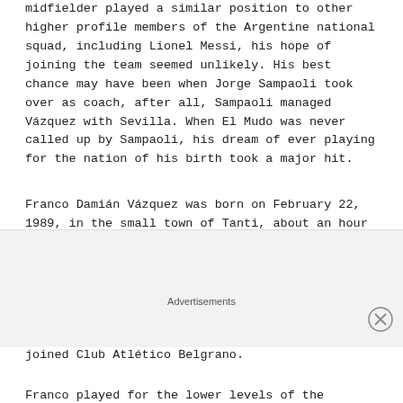midfielder played a similar position to other higher profile members of the Argentine national squad, including Lionel Messi, his hope of joining the team seemed unlikely. His best chance may have been when Jorge Sampaoli took over as coach, after all, Sampaoli managed Vázquez with Sevilla. When El Mudo was never called up by Sampaoli, his dream of ever playing for the nation of his birth took a major hit.
Franco Damián Vázquez was born on February 22, 1989, in the small town of Tanti, about an hour west of Córdoba, Argentina. As most young Argentines do, Franco developed a love for football from an early age. He started his career with the tiny Cordobés club, Barrio Parque. At the age of 16, he earned the interest of one of the largest clubs in Córdoba and joined Club Atlético Belgrano.
Franco played for the lower levels of the club for two years
Advertisements